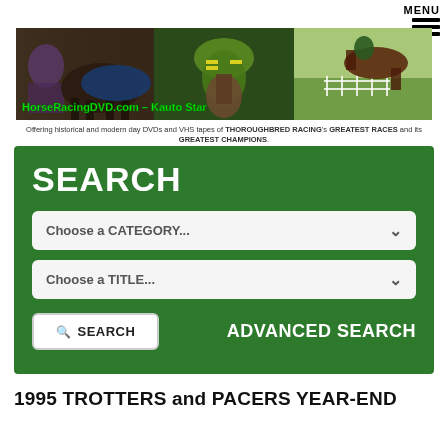MENU
[Figure (photo): Collage banner of horse racing scenes with jockeys and horses. Overlaid text reads: HorseRacingDVD.com – Kauto Star]
Offering historical and modern day DVDs and VHS tapes of THOROUGHBRED RACING's GREATEST RACES and its GREATEST CHAMPIONS.
[Figure (screenshot): Green search panel with SEARCH heading, two dropdown menus labeled Choose a CATEGORY... and Choose a TITLE..., a SEARCH button and ADVANCED SEARCH link]
1995 TROTTERS and PACERS YEAR-END